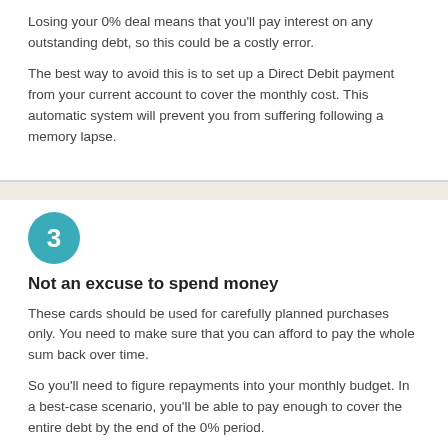Losing your 0% deal means that you'll pay interest on any outstanding debt, so this could be a costly error.
The best way to avoid this is to set up a Direct Debit payment from your current account to cover the monthly cost. This automatic system will prevent you from suffering following a memory lapse.
Not an excuse to spend money
These cards should be used for carefully planned purchases only. You need to make sure that you can afford to pay the whole sum back over time.
So you'll need to figure repayments into your monthly budget. In a best-case scenario, you'll be able to pay enough to cover the entire debt by the end of the 0% period.